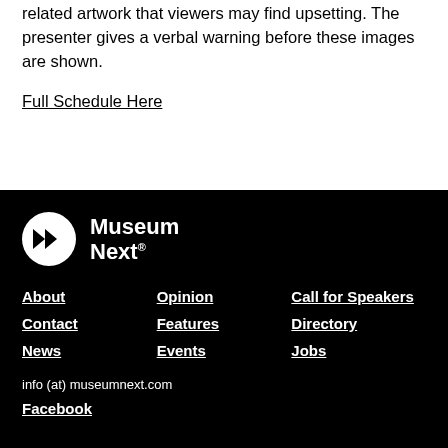related artwork that viewers may find upsetting. The presenter gives a verbal warning before these images are shown.
Full Schedule Here
[Figure (logo): MuseumNext logo: white circle with double forward-arrow play button icon, followed by bold white text 'Museum Next®']
About | Contact | News | Opinion | Features | Events | Call for Speakers | Directory | Jobs | info (at) museumnext.com | Facebook